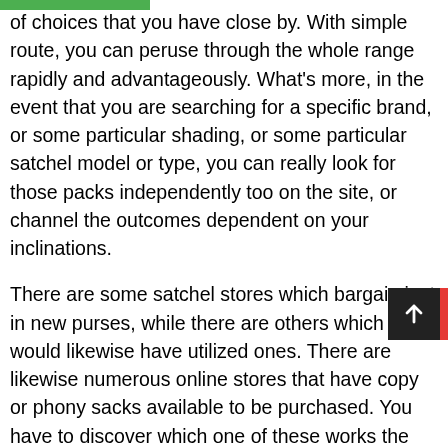of choices that you have close by. With simple route, you can peruse through the whole range rapidly and advantageously. What's more, in the event that you are searching for a specific brand, or some particular shading, or some particular satchel model or type, you can really look for those packs independently too on the site, or channel the outcomes dependent on your inclinations.
There are some satchel stores which bargain just in new purses, while there are others which would likewise have utilized ones. There are likewise numerous online stores that have copy or phony sacks available to be purchased. You have to discover which one of these works the best for you, contingent upon which one b etter limits or deal offers with bags singapore, which one has better dispatching offers, better client care administration and so on.
At the point when you are searching for a satchel...